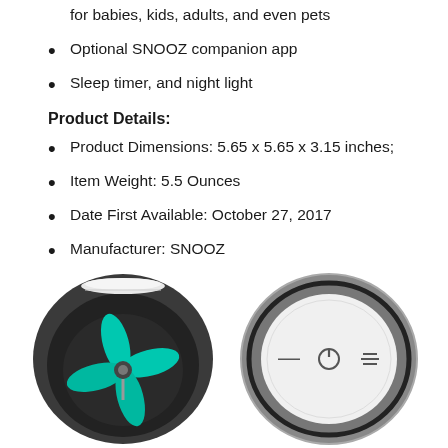for babies, kids, adults, and even pets
Optional SNOOZ companion app
Sleep timer, and night light
Product Details:
Product Dimensions: 5.65 x 5.65 x 3.15 inches;
Item Weight: 5.5 Ounces
Date First Available: October 27, 2017
Manufacturer: SNOOZ
[Figure (photo): Two views of the SNOOZ white noise machine: left image shows the underside with exposed fan mechanism and teal fan blades visible through the open base; right image shows the top view with white circular face, control buttons (minus, power, menu), and grey fabric exterior.]